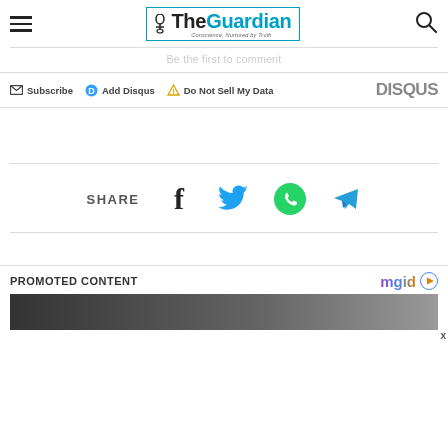The Guardian — Conscience, Nurtured by Truth
Be the first to comment
Subscribe  Add Disqus  Do Not Sell My Data   DISQUS
SHARE
PROMOTED CONTENT
[Figure (logo): mgid logo with play button icon]